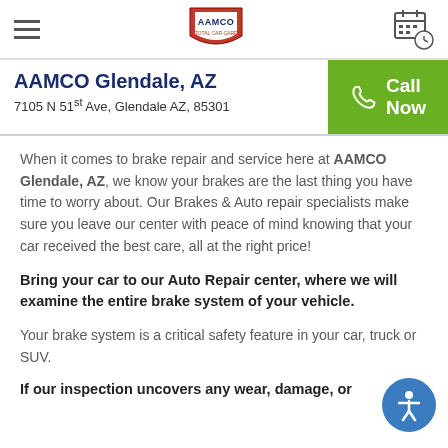AAMCO logo, hamburger menu, calendar icon
AAMCO Glendale, AZ
7105 N 51st Ave, Glendale AZ, 85301
When it comes to brake repair and service here at AAMCO Glendale, AZ, we know your brakes are the last thing you have time to worry about. Our Brakes & Auto repair specialists make sure you leave our center with peace of mind knowing that your car received the best care, all at the right price!
Bring your car to our Auto Repair center, where we will examine the entire brake system of your vehicle.
Your brake system is a critical safety feature in your car, truck or SUV.
If our inspection uncovers any wear, damage, or